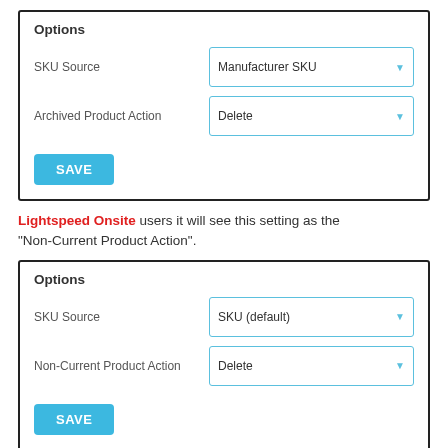[Figure (screenshot): Options panel with SKU Source set to 'Manufacturer SKU' and Archived Product Action set to 'Delete', plus a SAVE button]
Lightspeed Onsite users it will see this setting as the "Non-Current Product Action".
[Figure (screenshot): Options panel with SKU Source set to 'SKU (default)' and Non-Current Product Action set to 'Delete', plus a SAVE button]
Action Options